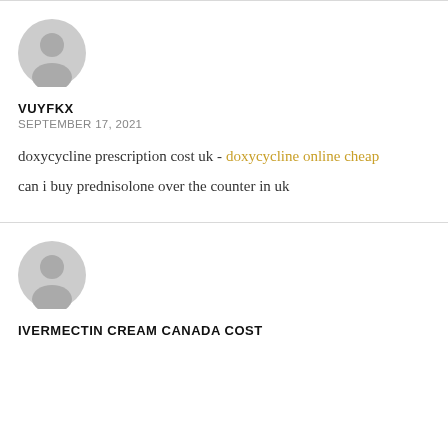[Figure (illustration): Gray default user avatar icon — circular silhouette of a person, light gray color]
VUYFKX
SEPTEMBER 17, 2021
doxycycline prescription cost uk - doxycycline online cheap
can i buy prednisolone over the counter in uk
[Figure (illustration): Gray default user avatar icon — circular silhouette of a person, light gray color]
IVERMECTIN CREAM CANADA COST